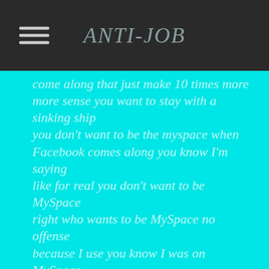ANTI-JOB
come along that just make 10 times more more sense you want to stay with a sinking ship you don't want to be the myspace when Facebook comes along you know I'm saying like for real you don't want to be MySpace right who wants to be MySpace no offense because I use you know I was on MySpace just like those of you who are over the age of 18 but anyway um so we're gonna start with drop shipping you already know what it is you take something from one site and you sell it at a higher markup on a different site okay so for instance some people would take products from from Amazon because you'll get a